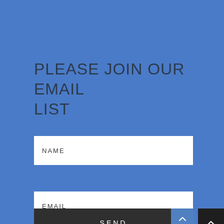PLEASE JOIN OUR EMAIL LIST
NAME
EMAIL
SEND